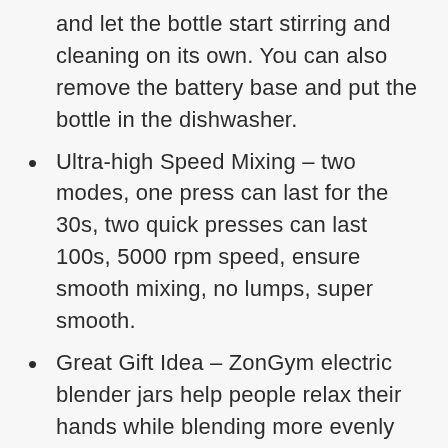and let the bottle start stirring and cleaning on its own. You can also remove the battery base and put the bottle in the dishwasher.
Ultra-high Speed Mixing – two modes, one press can last for the 30s, two quick presses can last 100s, 5000 rpm speed, ensure smooth mixing, no lumps, super smooth.
Great Gift Idea – ZonGym electric blender jars help people relax their hands while blending more evenly than by hand. The bottom includes an LED light design to make simple mugs no longer monotonous.